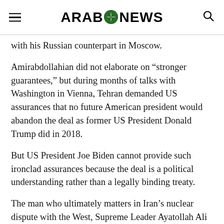ARAB NEWS
with his Russian counterpart in Moscow.
Amirabdollahian did not elaborate on “stronger guarantees,” but during months of talks with Washington in Vienna, Tehran demanded US assurances that no future American president would abandon the deal as former US President Donald Trump did in 2018.
But US President Joe Biden cannot provide such ironclad assurances because the deal is a political understanding rather than a legally binding treaty.
The man who ultimately matters in Iran’s nuclear dispute with the West, Supreme Leader Ayatollah Ali Khamenei, has not commented on